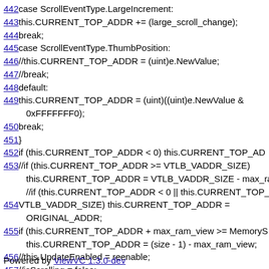442 case ScrollEventType.LargeIncrement:
443 this.CURRENT_TOP_ADDR += (large_scroll_change);
444 break;
445 case ScrollEventType.ThumbPosition:
446 //this.CURRENT_TOP_ADDR = (uint)e.NewValue;
447 //break;
448 default:
449 this.CURRENT_TOP_ADDR = (uint)((uint)e.NewValue & 0xFFFFFFF0);
450 break;
451 }
452 if (this.CURRENT_TOP_ADDR < 0) this.CURRENT_TOP_AD...
453 //if (this.CURRENT_TOP_ADDR >= VTLB_VADDR_SIZE) this.CURRENT_TOP_ADDR = VTLB_VADDR_SIZE - max_ra... //if (this.CURRENT_TOP_ADDR < 0 || this.CURRENT_TOP_A...
454 VTLB_VADDR_SIZE) this.CURRENT_TOP_ADDR = ORIGINAL_ADDR;
455 if (this.CURRENT_TOP_ADDR + max_ram_view >= MemoryS... this.CURRENT_TOP_ADDR = (size - 1) - max_ram_view;
456 //this.UpdateEnabled = reenable;
457 //isScrolling = false;
458 }
459 }
460 }
Powered by ViewVC 1.3.0-dev